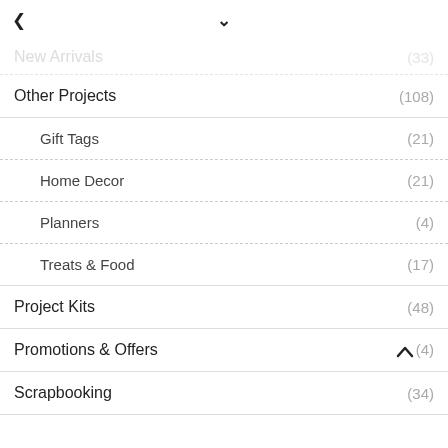< ∨
New Arrivals (33)
Other Projects (108)
Gift Tags (21)
Home Decor (21)
Planners (4)
Treats & Food (17)
Project Kits (48)
Promotions & Offers (4)
Scrapbooking (34)